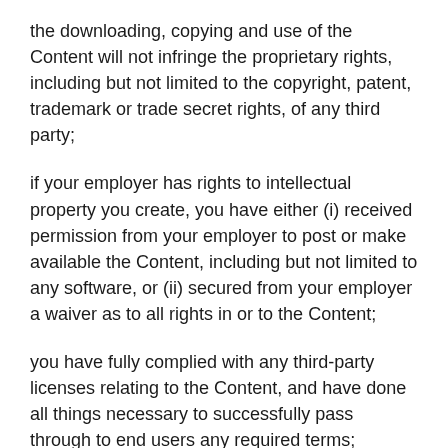the downloading, copying and use of the Content will not infringe the proprietary rights, including but not limited to the copyright, patent, trademark or trade secret rights, of any third party;
if your employer has rights to intellectual property you create, you have either (i) received permission from your employer to post or make available the Content, including but not limited to any software, or (ii) secured from your employer a waiver as to all rights in or to the Content;
you have fully complied with any third-party licenses relating to the Content, and have done all things necessary to successfully pass through to end users any required terms;
the Content is not pornographic, does not contain threats or incite violence towards individuals or entities, and does not violate the privacy or publicity rights of any third party;
your account is not named in a manner that misleads your